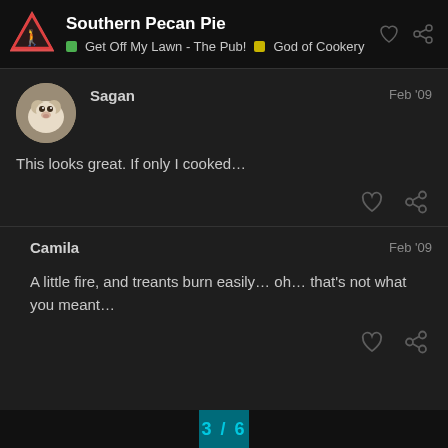Southern Pecan Pie | Get Off My Lawn - The Pub! | God of Cookery
Sagan Feb '09
This looks great. If only I cooked...
Camila Feb '09
A little fire, and treants burn easily… oh… that's not what you meant...
3 / 6